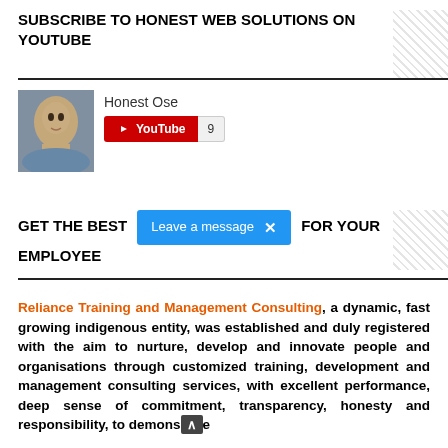SUBSCRIBE TO HONEST WEB SOLUTIONS ON YOUTUBE
[Figure (photo): Profile photo of Honest Ose, a man in a blue shirt]
Honest Ose
[Figure (other): YouTube subscribe button showing count 9]
GET THE BEST [Leave a message ×] FOR YOUR EMPLOYEE
Reliance Training and Management Consulting, a dynamic, fast growing indigenous entity, was established and duly registered with the aim to nurture, develop and innovate people and organisations through customized training, development and management consulting services, with excellent performance, deep sense of commitment, transparency, honesty and responsibility, to demonstrate